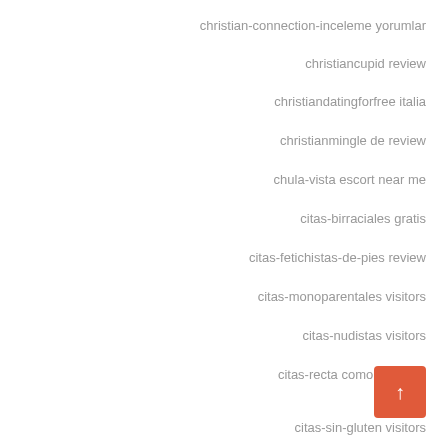christian-connection-inceleme yorumlar
christiancupid review
christiandatingforfree italia
christianmingle de review
chula-vista escort near me
citas-birraciales gratis
citas-fetichistas-de-pies review
citas-monoparentales visitors
citas-nudistas visitors
citas-recta como funciona
citas-sin-gluten visitors